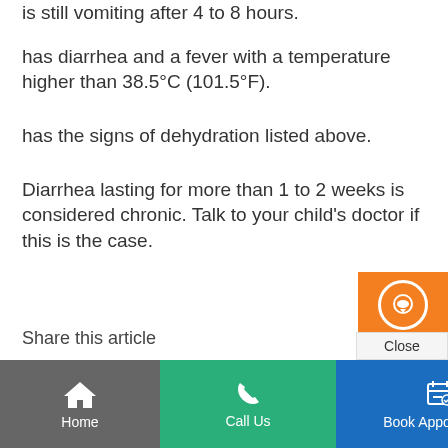is still vomiting after 4 to 8 hours.
has diarrhea and a fever with a temperature higher than 38.5°C (101.5°F).
has the signs of dehydration listed above.
Diarrhea lasting for more than 1 to 2 weeks is considered chronic. Talk to your child's doctor if this is the case.
Share this article
[Figure (screenshot): Live Chat widget with orange background, chat bubble icon, text 'Live Chat', hours '9:00 am 5:00 pm GMT+8']
Home | Call Us | Book Appointment | Live Chat